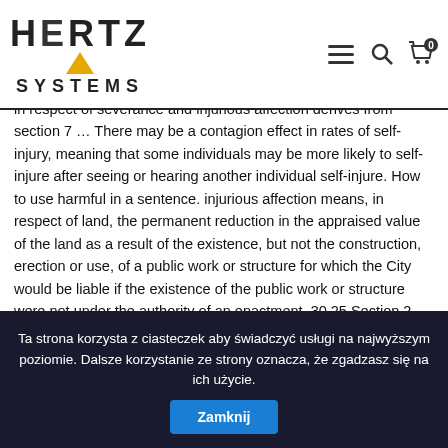Hertz Systems — header with logo, burger menu, search, and cart icons
of S... lations have been published (Cook... R... 1960; Menninger, 1935; Ohler & Bargiow, 1960; Rosen & Walsh, 1989; Walsh & Rosen, 1985). Part 1: Severance and injurious affection 3.1 Right to compensation The right of an owner to compensation in respect of severance and injurious affection derives from section 7 … There may be a contagion effect in rates of self-injury, meaning that some individuals may be more likely to self-injure after seeing or hearing another individual self-injure. How to use harmful in a sentence. injurious affection means, in respect of land, the permanent reduction in the appraised value of the land as a result of the existence, but not the construction, erection or use, of a public work or structure for which the City would be liable if the existence of the public work or structure were not under the authority of an enactment. 30.25 Section 2 2008 Revised Edition Page 7 (d) an impact which is cumulative over time or in
Ta strona korzysta z ciasteczek aby świadczyć usługi na najwyższym poziomie. Dalsze korzystanie ze strony oznacza, że zgadzasz się na ich użycie. Zamknij